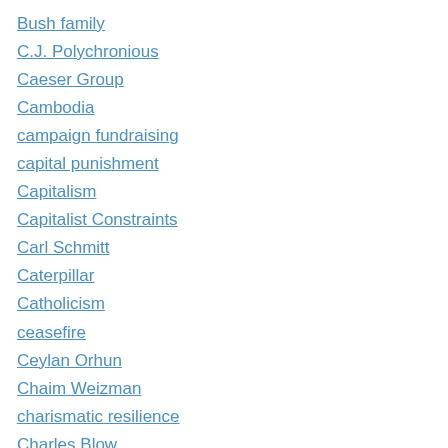Bush family
C.J. Polychronious
Caeser Group
Cambodia
campaign fundraising
capital punishment
Capitalism
Capitalist Constraints
Carl Schmitt
Caterpillar
Catholicism
ceasefire
Ceylan Orhun
Chaim Weizman
charismatic resilience
Charles Blow
Charlie Hebdo
Charlottesville
Chas Freeman
Chemical Weapons